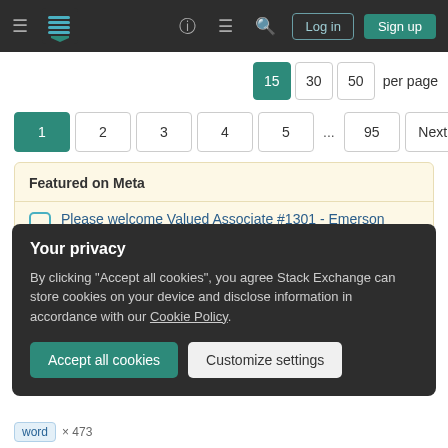[Figure (screenshot): Stack Exchange navigation bar with hamburger menu, logo, help icon, chat icon, search icon, Log in button, Sign up button on dark background]
15   30   50   per page
1   2   3   4   5   ...   95   Next
Featured on Meta
Please welcome Valued Associate #1301 - Emerson
Your privacy
By clicking "Accept all cookies", you agree Stack Exchange can store cookies on your device and disclose information in accordance with our Cookie Policy.
Accept all cookies   Customize settings
word × 473